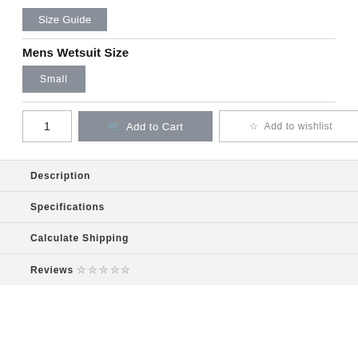Size Guide
Mens Wetsuit Size
Small
1  Add to Cart  Add to wishlist
Description
Specifications
Calculate Shipping
Reviews ☆ ☆ ☆ ☆ ☆